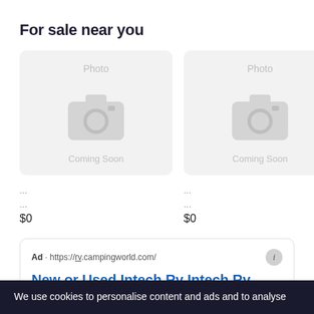For sale near you
[Figure (photo): Placeholder photo card showing camera icon with 'Photo' label and 'Coming Soon' text on grey background]
[Figure (photo): Placeholder photo card showing camera icon with 'Photo' label and 'Coming Soon' text on grey background]
...
...
$0
...
...
$0
Ad · https://rv.campingworld.com/
New or Used Intech Rv Intech Rv
We use cookies to personalise content and ads and to analyse